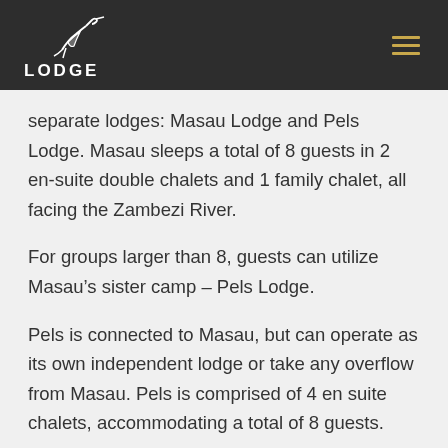Masau Lodge
separate lodges: Masau Lodge and Pels Lodge. Masau sleeps a total of 8 guests in 2 en-suite double chalets and 1 family chalet, all facing the Zambezi River.
For groups larger than 8, guests can utilize Masau’s sister camp – Pels Lodge.
Pels is connected to Masau, but can operate as its own independent lodge or take any overflow from Masau. Pels is comprised of 4 en suite chalets, accommodating a total of 8 guests.